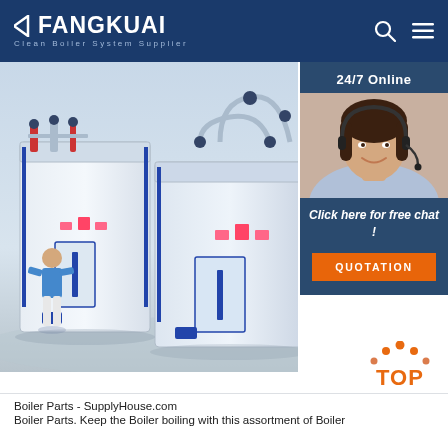FANGKUAI — Clean Boiler System Supplier
[Figure (photo): Industrial boiler system units rendered in 3D, white rectangular boiler machines with blue piping and fittings, a person in blue shirt standing beside them, overhead perspective view]
[Figure (photo): 24/7 Online chat support overlay: dark blue panel with a smiling woman wearing a headset, text 'Click here for free chat!' and orange QUOTATION button]
[Figure (other): Orange and red TOP button with upward arrow dots icon]
Boiler Parts - SupplyHouse.com
Boiler Parts. Keep the Boiler boiling with this assortment of Boiler